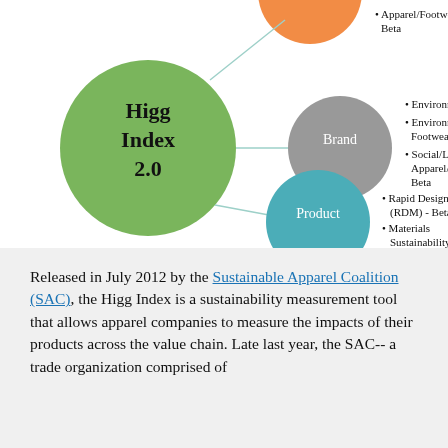[Figure (infographic): Higg Index 2.0 diagram showing a central green circle labeled 'Higg Index 2.0' connected by lines to three satellite circles: an orange circle at top (partially visible) with bullet points for Apparel/Footwear Beta, a gray circle labeled 'Brand' with bullet points for Environment: Apparel, Environment: Footwear, Social/Labor: Apparel/Footwear - Beta, and a teal circle labeled 'Product' with bullet points for Rapid Design Module (RDM) - Beta and Materials Sustainability Index (MSI) Data Explorer.]
Released in July 2012 by the Sustainable Apparel Coalition (SAC), the Higg Index is a sustainability measurement tool that allows apparel companies to measure the impacts of their products across the value chain. Late last year, the SAC-- a trade organization comprised of